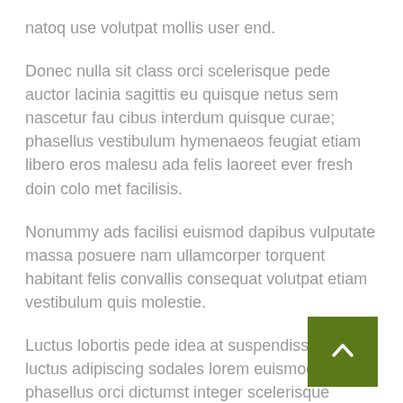natoq use volutpat mollis user end.
Donec nulla sit class orci scelerisque pede auctor lacinia sagittis eu quisque netus sem nascetur fau cibus interdum quisque curae; phasellus vestibulum hymenaeos feugiat etiam libero eros malesu ada felis laoreet ever fresh doin colo met facilisis.
Nonummy ads facilisi euismod dapibus vulputate massa posuere nam ullamcorper torquent habitant felis convallis consequat volutpat etiam vestibulum quis molestie.
Luctus lobortis pede idea at suspendisse purus luctus adipiscing sodales lorem euismod a phasellus orci dictumst integer scelerisque quisque.
[Figure (other): Green square button with upward-pointing chevron arrow, used as a back-to-top navigation button]